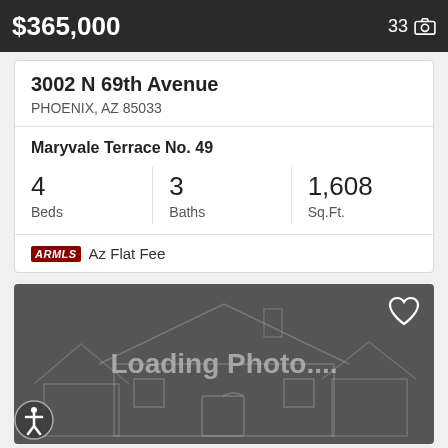$365,000   33
3002 N 69th Avenue
PHOENIX, AZ 85033
Maryvale Terrace No. 49
| Beds | Baths | Sq.Ft. |
| --- | --- | --- |
| 4 | 3 | 1,608 |
ARMLS  Az Flat Fee
[Figure (illustration): Loading Photo placeholder with house outline silhouette and heart icon]